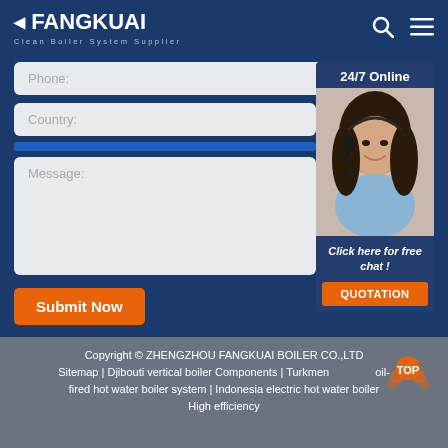FANGKUAI Clean Boiler System Supplier
Phone:
Country:
Message:
[Figure (photo): 24/7 Online customer service representative — woman with headset smiling. Button: Click here for free chat! QUOTATION]
Submit Now
Copyright © ZHENGZHOU FANGKUAI BOILER CO.,LTD Sitemap | Djibouti vertical boiler Components | Turkmenistan oil-fired hot water boiler system | Indonesia electric hot water boiler High efficiency